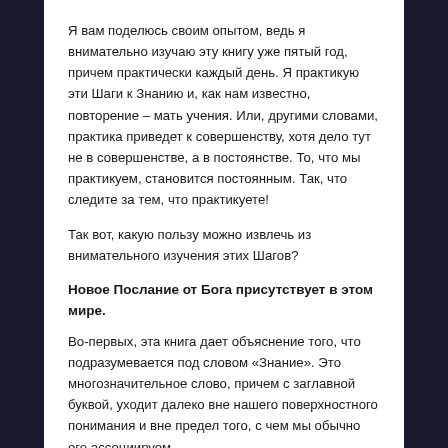Я вам поделюсь своим опытом, ведь я внимательно изучаю эту книгу уже пятый год, причем практически каждый день. Я практикую эти Шаги к Знанию и, как нам известно, повторение – мать учения. Или, другими словами, практика приведет к совершенству, хотя дело тут не в совершенстве, а в постоянстве. То, что мы практикуем, становится постоянным. Так, что следите за тем, что практикуете!
Так вот, какую пользу можно извлечь из внимательного изучения этих Шагов?
Новое Послание от Бога присутствует в этом мире.
Во-первых, эта книга дает объяснение того, что подразумевается под словом «Знание». Это многозначительное слово, причем с заглавной буквой, уходит далеко вне нашего поверхностного понимания и вне предел того, с чем мы обычно его ассоциируем.
Шаг 2 толкует это слово следующем образом: «Знание